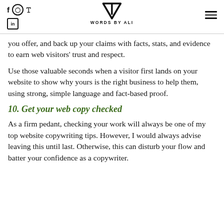WORDS BY ALI
you offer, and back up your claims with facts, stats, and evidence to earn web visitors' trust and respect.
Use those valuable seconds when a visitor first lands on your website to show why yours is the right business to help them, using strong, simple language and fact-based proof.
10. Get your web copy checked
As a firm pedant, checking your work will always be one of my top website copywriting tips. However, I would always advise leaving this until last. Otherwise, this can disturb your flow and batter your confidence as a copywriter.